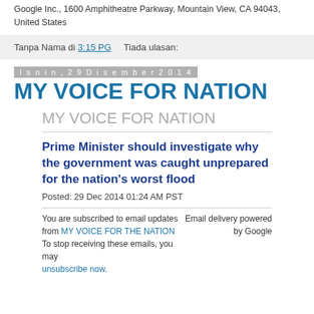Google Inc., 1600 Amphitheatre Parkway, Mountain View, CA 94043, United States
Tanpa Nama di 3:15 PG   Tiada ulasan:
Isnin, 29 Disember 2014
MY VOICE FOR NATION
MY VOICE FOR NATION
Prime Minister should investigate why the government was caught unprepared for the nation's worst flood
Posted: 29 Dec 2014 01:24 AM PST
You are subscribed to email updates from MY VOICE FOR THE NATION. To stop receiving these emails, you may unsubscribe now.
Email delivery powered by Google